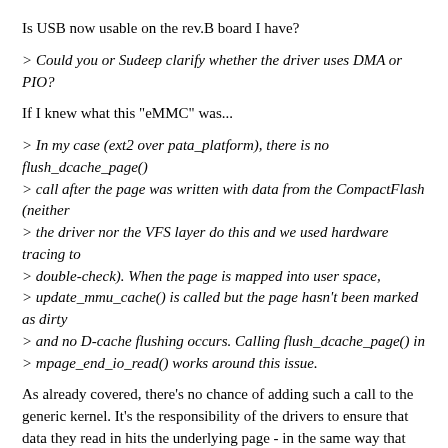Is USB now usable on the rev.B board I have?
> Could you or Sudeep clarify whether the driver uses DMA or PIO?
If I knew what this "eMMC" was...
> In my case (ext2 over pata_platform), there is no flush_dcache_page()
> call after the page was written with data from the CompactFlash (neither
> the driver nor the VFS layer do this and we used hardware tracing to
> double-check). When the page is mapped into user space,
> update_mmu_cache() is called but the page hasn't been marked as dirty
> and no D-cache flushing occurs. Calling flush_dcache_page() in
> mpage_end_io_read() works around this issue.
As already covered, there's no chance of adding such a call to the generic kernel. It's the responsibility of the drivers to ensure that data they read in hits the underlying page - in the same way that DMA
does.